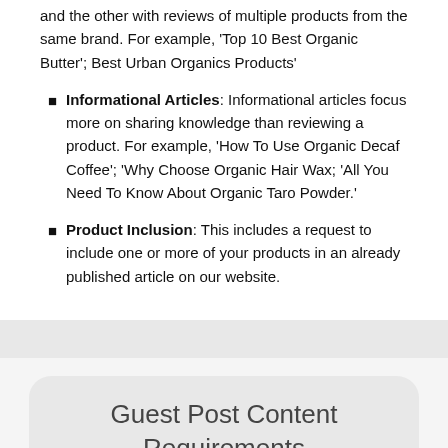and the other with reviews of multiple products from the same brand. For example, 'Top 10 Best Organic Butter'; Best Urban Organics Products'
Informational Articles: Informational articles focus more on sharing knowledge than reviewing a product. For example, 'How To Use Organic Decaf Coffee'; 'Why Choose Organic Hair Wax; 'All You Need To Know About Organic Taro Powder.'
Product Inclusion: This includes a request to include one or more of your products in an already published article on our website.
Guest Post Content Requirements